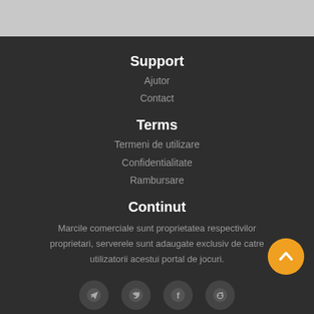Support
Ajutor
Contact
Terms
Termeni de utilizare
Confidentialitate
Rambursare
Continut
Marcile comerciale sunt proprietatea respectivilor proprietari, serverele sunt adaugate exclusiv de catre utilizatorii acestui portal de jocuri.
[Figure (illustration): Orange circular back-to-top button with chevron icon]
[Figure (illustration): Row of circular social media icons: Telegram, Twitter, Facebook, Reddit]